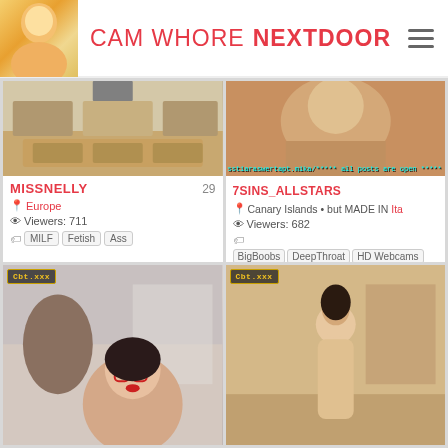CAM WHORE NEXTDOOR
[Figure (screenshot): Card for MISSNELLY: kitchen background thumbnail, age 29, location Europe, Viewers: 711, tags: MILF, Fetish, Ass]
[Figure (screenshot): Card for 7SINS_ALLSTARS: tattooed woman thumbnail, location Canary Islands but MADE IN Ita[ly], Viewers: 682, tags: BigBoobs, DeepThroat, HD Webcams, Blondes, Anal]
[Figure (screenshot): Bottom left card: woman with glasses and red lips, CBT.xxx logo watermark]
[Figure (screenshot): Bottom right card: nude woman standing, CBT.xxx logo watermark]